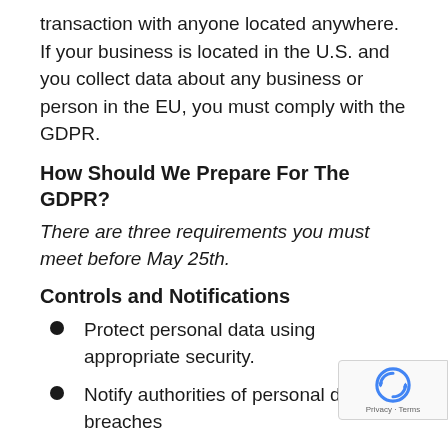transaction with anyone located anywhere. If your business is located in the U.S. and you collect data about any business or person in the EU, you must comply with the GDPR.
How Should We Prepare For The GDPR?
There are three requirements you must meet before May 25th.
Controls and Notifications
Protect personal data using appropriate security.
Notify authorities of personal data breaches
Obtain appropriate consents for processing data